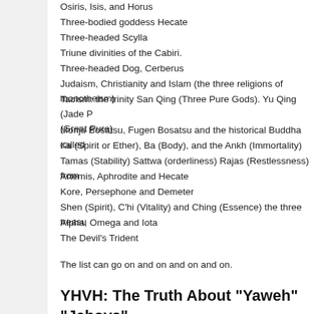Osiris, Isis, and Horus
Three-bodied goddess Hecate
Three-headed Scylla
Triune divinities of the Cabiri.
Three-headed Dog, Cerberus
Judaism, Christianity and Islam (the three religions of monotheism)
Taoism: the trinity San Qing (Three Pure Gods). Yu Qing (Jade P... (Great Pure)
Monju Bosatsu, Fugen Bosatsu and the historical Buddha called
Ka (Spirit or Ether), Ba (Body), and the Ankh (Immortality)
Tamas (Stability) Sattwa (orderliness) Rajas (Restlessness) from
Artemis, Aphrodite and Hecate
Kore, Persephone and Demeter
Shen (Spirit), C'hi (Vitality) and Ching (Essence) the three treasu
Alpha, Omega and Iota
The Devil's Trident
The list can go on and on and on and on.
YHVH: The Truth About "Yaweh" "Jehova"